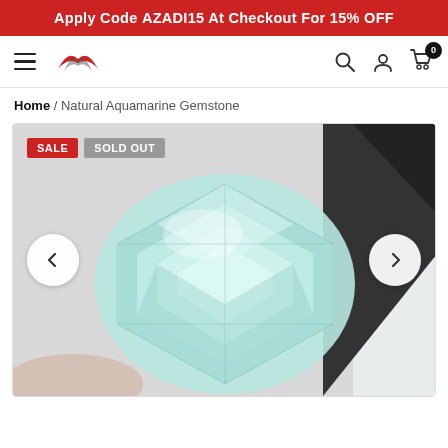Apply Code AZADI15 At Checkout For 15% OFF
[Figure (logo): Website navigation bar with hamburger menu, red bird/phoenix logo, search icon, user icon, and cart icon with badge showing 0]
Home / Natural Aquamarine Gemstone
[Figure (photo): Close-up photo of a natural aquamarine cushion-cut gemstone showing light blue-green facets on white leather background. Overlaid with SALE and SOLD OUT badges. Navigation arrows (< and >) on left and right sides.]